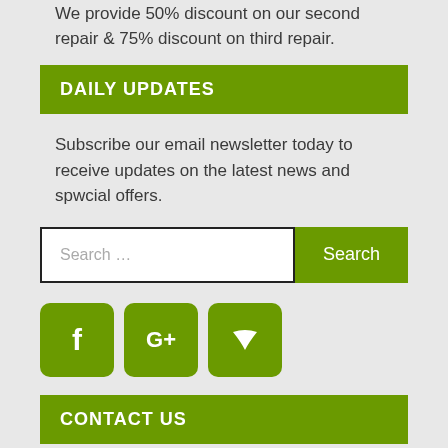We provide 50% discount on our second repair & 75% discount on third repair.
DAILY UPDATES
Subscribe our email newsletter today to receive updates on the latest news and spwcial offers.
Search ...
[Figure (other): Social media icons: Facebook (f), Google+ (G+), Twitter (bird)]
CONTACT US
0340- 6669676
051-2120599